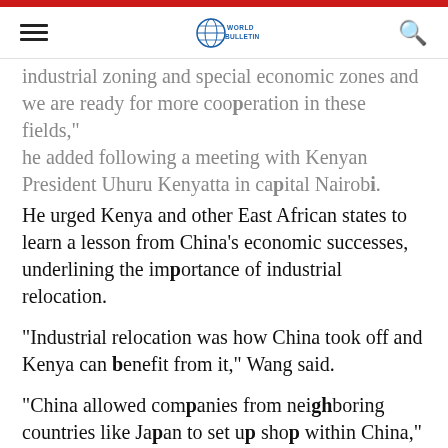World Bulletin
industrial zoning and special economic zones and we are ready for more cooperation in these fields," he added following a meeting with Kenyan President Uhuru Kenyatta in capital Nairobi.
He urged Kenya and other East African states to learn a lesson from China's economic successes, underlining the importance of industrial relocation.
"Industrial relocation was how China took off and Kenya can benefit from it," Wang said.
"China allowed companies from neighboring countries like Japan to set up shop within China," he added.
He said this had allowed the transfer of technology and skills to the Chinese people up to the stage